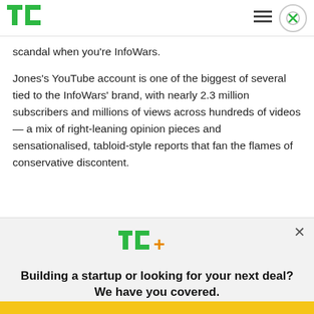TechCrunch logo, hamburger menu, close button
scandal when you're InfoWars.
Jones's YouTube account is one of the biggest of several tied to the InfoWars' brand, with nearly 2.3 million subscribers and millions of views across hundreds of videos — a mix of right-leaning opinion pieces and sensationalised, tabloid-style reports that fan the flames of conservative discontent.
[Figure (logo): TechCrunch TC+ logo in green with orange plus sign]
Building a startup or looking for your next deal? We have you covered.
EXPLORE NOW